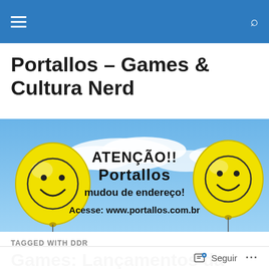Navigation bar with hamburger menu and search icon
Portallos – Games & Cultura Nerd
[Figure (illustration): Banner image with two yellow smiley face balloons on a blue sky background with clouds. Text reads: ATENÇÃO!! Portallos mudou de endereço! Acesse: www.portallos.com.br]
TAGGED WITH DDR
Games: Lançamentos da Semana (23 de Março...